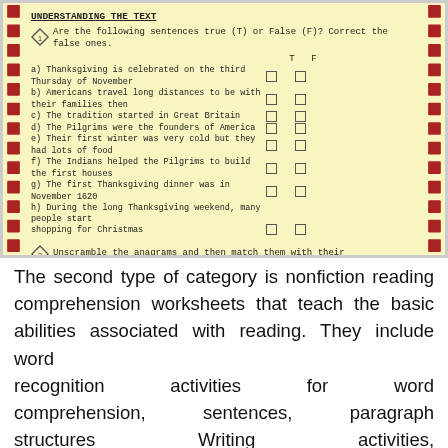[Figure (other): Worksheet snippet with yellow background showing 'UNDERSTANDING THE TEXT' section with True/False questions about Thanksgiving, and a second question about anagrams.]
UNDERSTANDING THE TEXT
Are the following sentences true (T) or False (F)? Correct the false ones.
a) Thanksgiving is celebrated on the third Thursday of November
b) Americans travel long distances to be with their families then
c) The tradition started in Great Britain
d) The Pilgrims were the founders of America
e) Their first winter was very cold but they had lots of food
f) The Indians helped the Pilgrims to build the first houses
g) The first Thanksgiving dinner was in November 1620
h) During the long Thanksgiving weekend, many people start shopping for Christmas
Unscramble the anagrams and then match them with their
The second type of category is nonfiction reading comprehension worksheets that teach the basic abilities associated with reading. They include word recognition activities for word comprehension, sentences, paragraph structures Writing activities, and essay questions. The best format for non-fiction reading comprehension worksheets typically multiple-choice. This allows students